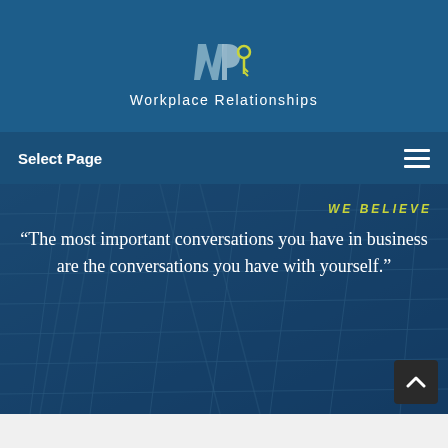[Figure (logo): Workplace Relationships logo with stylized WP icon in teal/silver/yellow colors]
Workplace Relationships
Select Page
[Figure (photo): Background photo of glass building architecture with blue tint overlay, featuring the quote: “The most important conversations you have in business are the conversations you have with yourself.” with WE BELIEVE heading in yellow-green]
WE BELIEVE
“The most important conversations you have in business are the conversations you have with yourself.”